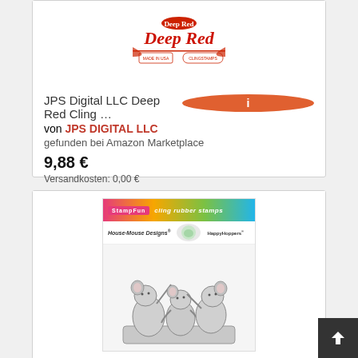[Figure (photo): Deep Red cling stamp product logo/image at top of first card]
JPS Digital LLC Deep Red Cling … von JPS DIGITAL LLC
gefunden bei Amazon Marketplace
9,88 €
Versandkosten: 0,00 €
[Figure (photo): House-Mouse Designs cling rubber stamps product image showing three mice playing instruments]